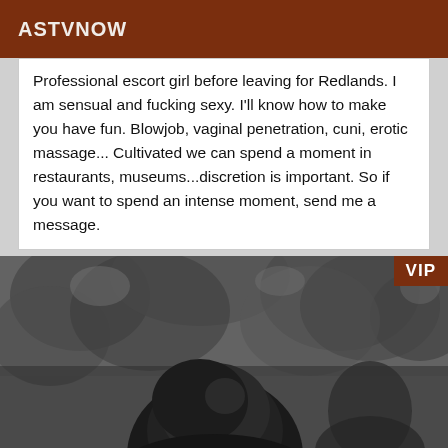ASTVNOW
Professional escort girl before leaving for Redlands. I am sensual and fucking sexy. I'll know how to make you have fun. Blowjob, vaginal penetration, cuni, erotic massage... Cultivated we can spend a moment in restaurants, museums...discretion is important. So if you want to spend an intense moment, send me a message.
[Figure (photo): Black and white photograph showing the back of a person's head with short hair, with trees and foliage visible in the background. A VIP badge appears in the top-right corner.]